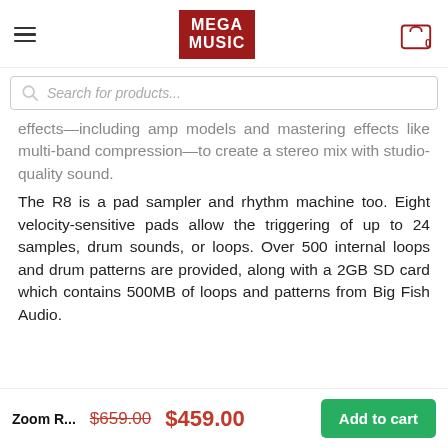[Figure (logo): Mega Music logo in red box with hamburger menu and cart icon in header]
[Figure (screenshot): Search bar with placeholder text 'Search for products...']
effects—including amp models and mastering effects like multi-band compression—to create a stereo mix with studio-quality sound.
The R8 is a pad sampler and rhythm machine too. Eight velocity-sensitive pads allow the triggering of up to 24 samples, drum sounds, or loops. Over 500 internal loops and drum patterns are provided, along with a 2GB SD card which contains 500MB of loops and patterns from Big Fish Audio.
Zoom R... $659.00 $459.00 Add to cart